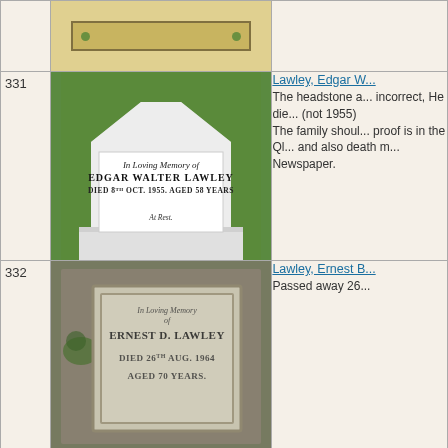[Figure (photo): Partial top row showing a plaque or nameplate on a pale yellow wall]
331
[Figure (photo): White marble gravestone reading: In Loving Memory of EDGAR WALTER LAWLEY DIED 8th OCT. 1955. AGED 58 YEARS. AT REST. Set against green grass background.]
Lawley, Edgar W... The headstone a... incorrect, He die... (not 1955) The family shoul... proof is in the Ql... and also death m... Newspaper.
332
[Figure (photo): Weathered grave plaque reading: In Loving Memory of ERNEST D. LAWLEY DIED 26th AUG. 1964 AGED 70 YEARS.]
Lawley, Ernest B... Passed away 26...